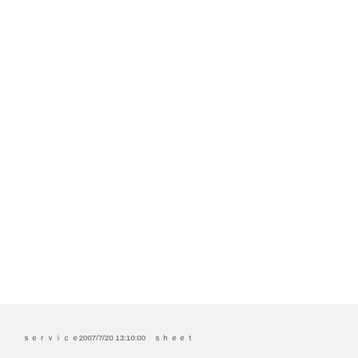ｓｅｒｖｉｃｅ2007/7/20 13:10:00　ｓｈｅｅｔ